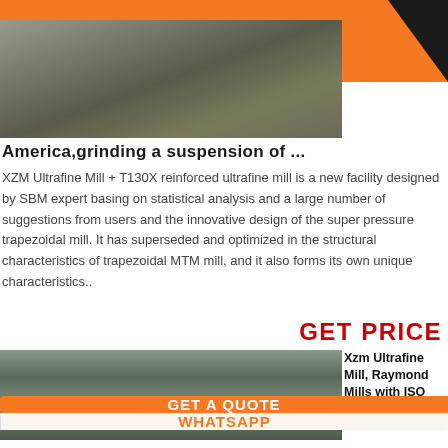[Figure (photo): Industrial facility or mill interior, top strip image]
America,grinding a suspension of ...
XZM Ultrafine Mill + T130X reinforced ultrafine mill is a new facility designed by SBM expert basing on statistical analysis and a large number of suggestions from users and the innovative design of the super pressure trapezoidal mill. It has superseded and optimized in the structural characteristics of trapezoidal MTM mill, and it also forms its own unique characteristics..
GET PRICE
[Figure (photo): Large industrial mill or manufacturing plant interior, wide angle view]
Xzm Ultrafine Mill, Raymond Mills with ISO
GET A QUOTE
WHATSAPP